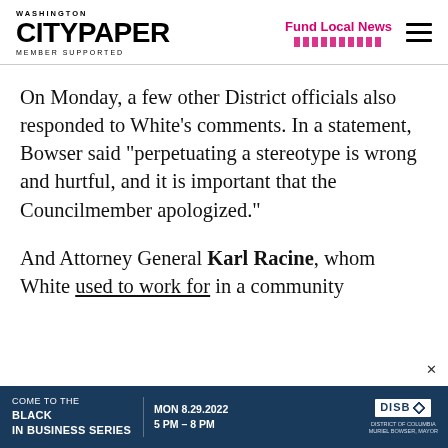WASHINGTON CITY PAPER MEMBER SUPPORTED | Fund Local News
On Monday, a few other District officials also responded to White’s comments. In a statement, Bowser said “perpetrating a stereotype is wrong and hurtful, and it is important that the Councilmember apologized.”
And Attorney General Karl Racine, whom White used to work for in a community
[Figure (other): Advertisement banner: COME TO THE BLACK IN BUSINESS SERIES | MON 8.29.2022 5 PM – 8 PM | DISB logo and DC government logo]